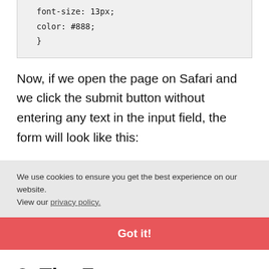font-size: 13px;
    color: #888;
}
Now, if we open the page on Safari and we click the submit button without entering any text in the input field, the form will look like this:
We use cookies to ensure you get the best experience on our website. View our privacy policy.
Got it!
8. The Footer
On the footer part of our Coming Soon page we will